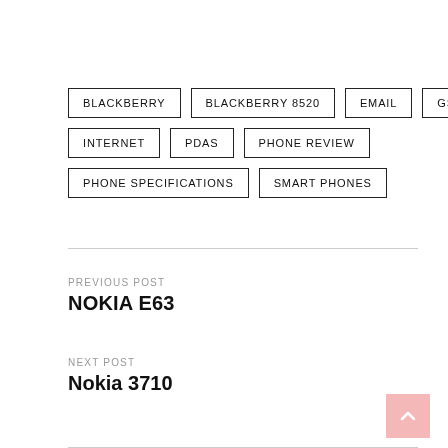BLACKBERRY
BLACKBERRY 8520
EMAIL
GSM
INTERNET
PDAS
PHONE REVIEW
PHONE SPECIFICATIONS
SMART PHONES
PREVIOUS POST
NOKIA E63
NEXT POST
Nokia 3710